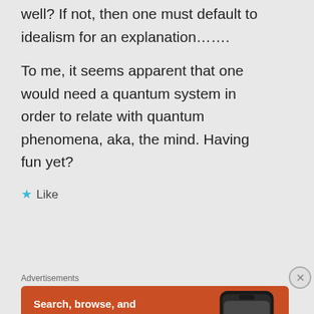well? If not, then one must default to idealism for an explanation…….
To me, it seems apparent that one would need a quantum system in order to relate with quantum phenomena, aka, the mind. Having fun yet?
★ Like
Advertisements
[Figure (other): DuckDuckGo advertisement banner with orange background showing 'Search, browse, and email with more privacy. All in One Free App' text and a smartphone showing the DuckDuckGo app]